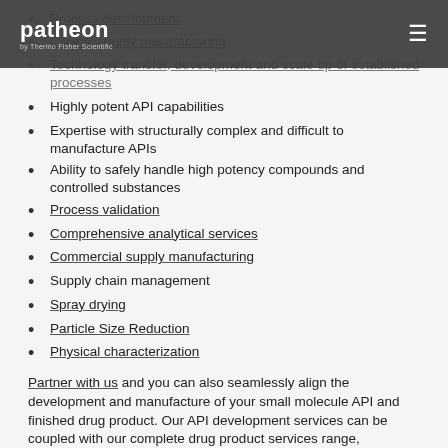[Figure (screenshot): Patheon by Thermo Fisher Scientific navigation bar with logo and hamburger menu icon on dark grey background]
Process development (partially obscured, linked)
Clinical supply manufacturing (linked)
Technology transfer, development and scale up of established processes (linked)
Highly potent API capabilities
Expertise with structurally complex and difficult to manufacture APIs
Ability to safely handle high potency compounds and controlled substances
Process validation (linked)
Comprehensive analytical services (linked)
Commercial supply manufacturing (linked)
Supply chain management
Spray drying (linked)
Particle Size Reduction (linked)
Physical characterization (linked)
Partner with us and you can also seamlessly align the development and manufacture of your small molecule API and finished drug product. Our API development services can be coupled with our complete drug product services range,